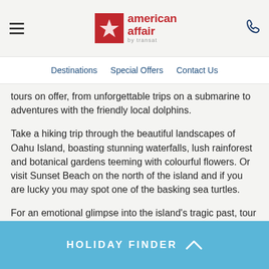american affair by transat
Destinations  Special Offers  Contact Us
tours on offer, from unforgettable trips on a submarine to adventures with the friendly local dolphins.
Take a hiking trip through the beautiful landscapes of Oahu Island, boasting stunning waterfalls, lush rainforest and botanical gardens teeming with colourful flowers. Or visit Sunset Beach on the north of the island and if you are lucky you may spot one of the basking sea turtles.
For an emotional glimpse into the island's tragic past, tour one of the historic boats or museums on Pearl Harbour and discover more about the event that thrust the US into WWII
HOLIDAY FINDER